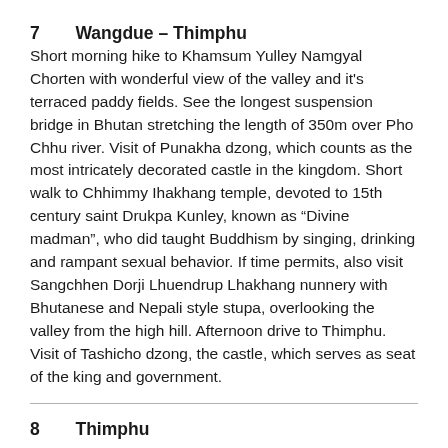7    Wangdue – Thimphu
Short morning hike to Khamsum Yulley Namgyal Chorten with wonderful view of the valley and it's terraced paddy fields. See the longest suspension bridge in Bhutan stretching the length of 350m over Pho Chhu river. Visit of Punakha dzong, which counts as the most intricately decorated castle in the kingdom. Short walk to Chhimmy Ihakhang temple, devoted to 15th century saint Drukpa Kunley, known as “Divine madman”, who did taught Buddhism by singing, drinking and rampant sexual behavior. If time permits, also visit Sangchhen Dorji Lhuendrup Lhakhang nunnery with Bhutanese and Nepali style stupa, overlooking the valley from the high hill. Afternoon drive to Thimphu. Visit of Tashicho dzong, the castle, which serves as seat of the king and government.
8    Thimphu